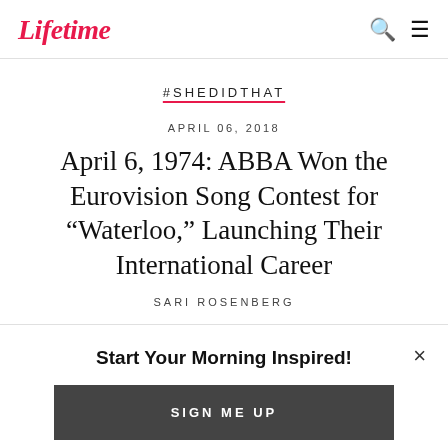Lifetime
#SHEDIDTHAT
APRIL 06, 2018
April 6, 1974: ABBA Won the Eurovision Song Contest for "Waterloo," Launching Their International Career
SARI ROSENBERG
Start Your Morning Inspired!
SIGN ME UP